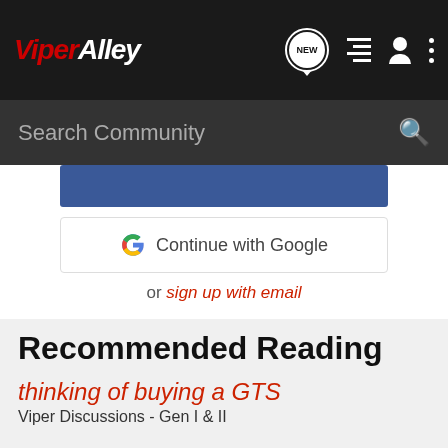ViperAlley
Search Community
[Figure (screenshot): Continue with Google button and sign up with email option]
Recommended Reading
thinking of buying a GTS
Viper Discussions - Gen I & II
3   711
speed disease · updated Aug 24, 2012